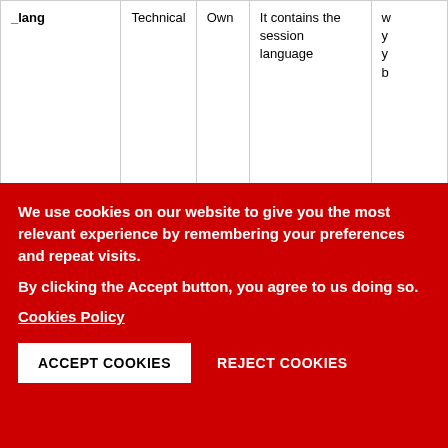| Name | Type | Provenance | Purpose | Expiry |
| --- | --- | --- | --- | --- |
| _lang | Technical | Own | It contains the session language | w y y b |
| cookie-agreed | Technical | Own | It contains the value of whether the installation | 1 |
We use cookies on our website to give you the most relevant experience by remembering your preferences and repeat visits.
By clicking the Accept button, you agree to us doing so.
Cookies Policy